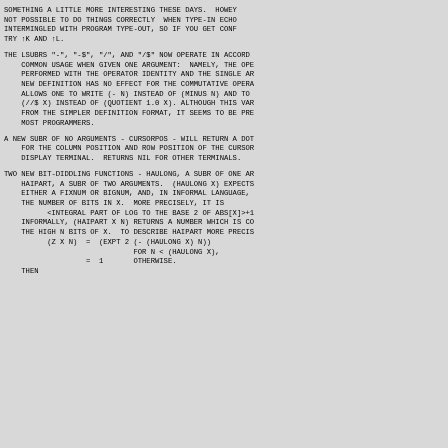SOMETHING A LITTLE MORE INTERESTING THESE DAYS.  HOWEY
NOT POSSIBLE TO DO THINGS CORRECTLY  WHEN TYPE-IN ECHO
INTERMINGLED WITH PROGRAM TYPE-OUT, SO IF YOU GET CONF
TRY ↑K AND ↑L.
THE LSUBRS "-", "-$", "/", AND "/$" NOW OPERATE IN ACCORD
  COMMON USAGE WHEN GIVEN ONE ARGUMENT:  NAMELY, THE OPE
  PERFORMED WITH THE OPERATOR IDENTITY AND THE SINGLE AR
  NEW DEFINITION HAS NO EFFECT FOR THE COMMUTATIVE OPERA
  ALLOWS ONE TO WRITE (- N) INSTEAD OF (MINUS N) AND TO
  (//$ X) INSTEAD OF (QUOTIENT 1.0 X). ALTHOUGH THIS VAR
  FROM THE SIMPLER DEFINITION FORMAT, IT SEEMS TO BE PRE
  MOST PROGRAMMERS.
A NEW SUBR OF NO ARGUMENTS - CURSORPOS - WILL RETURN A DOT
  FOR THE COLUMN POSITION AND ROW POSITION OF THE CURSOR
  DISPLAY TERMINAL.  RETURNS NIL FOR OTHER TERMINALS.
TWO NEW BIT-DIDDLING FUNCTIONS - HAULONG, A SUBR OF ONE AR
  HAIPART, A SUBR OF TWO ARGUMENTS.  (HAULONG X) EXPECTS
  EITHER A FIXNUM OR BIGNUM, AND, IN INFORMAL LANGUAGE,
  THE NUMBER OF BITS IN X.  MORE PRECISELY, IT IS
        <INTEGRAL PART OF LOG TO THE BASE 2 OF ABS[X]>+1
  INFORMALLY, (HAIPART X N) RETURNS A NUMBER WHICH IS CO
  THE HIGH N BITS OF X.  TO DESCRIBE HAIPART MORE PRECIS
        (Z X N)  =  (EXPT 2 (- (HAULONG X) N))
                            FOR N < (HAULONG X),
                 =  1       OTHERWISE.
  THEN